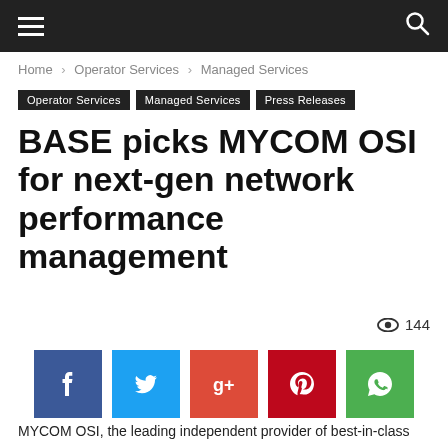Navigation bar with menu and search
Home › Operator Services › Managed Services
Operator Services  Managed Services  Press Releases
BASE picks MYCOM OSI for next-gen network performance management
144
[Figure (other): Social sharing buttons: Facebook, Twitter, Google+, Pinterest, WhatsApp]
MYCOM OSI, the leading independent provider of best-in-class